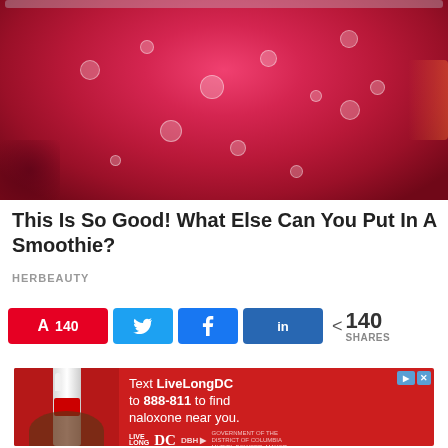[Figure (photo): Close-up overhead view of a red/pink smoothie in a glass jar with bubbles on the surface, surrounded by pomegranate pieces]
This Is So Good! What Else Can You Put In A Smoothie?
HERBEAUTY
[Figure (infographic): Social sharing buttons: Pinterest (140), Twitter, Facebook, LinkedIn, and share count showing 140 SHARES]
[Figure (infographic): Advertisement: Red background ad showing nasal spray device with text 'Text LiveLongDC to 888-811 to find naloxone near you.' with Live Long DC and DBH logos]